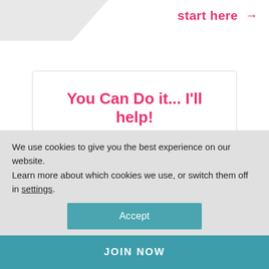[Figure (illustration): Diagonal grey/white shape in top-left corner of page]
start here →
You Can Do it... I'll help!
Get practical strategies and proven techniques to help you MAKE
We use cookies to give you the best experience on our website.
Learn more about which cookies we use, or switch them off in settings.
Accept
JOIN NOW